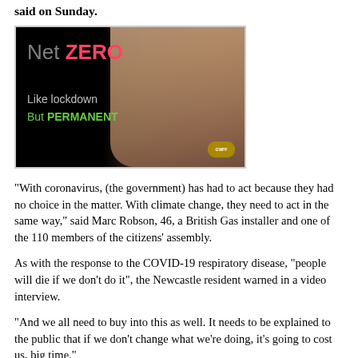said on Sunday.
[Figure (photo): Advertisement image on black background showing a crying woman's face with text: 'Net ZERO - Like lockdown But PERMANENT' with a small logo in the bottom right corner.]
“With coronavirus, (the government) has had to act because they had no choice in the matter. With climate change, they need to act in the same way,” said Marc Robson, 46, a British Gas installer and one of the 110 members of the citizens’ assembly.
As with the response to the COVID-19 respiratory disease, “people will die if we don’t do it”, the Newcastle resident warned in a video interview.
“And we all need to buy into this as well. It needs to be explained to the public that if we don’t change what we’re doing, it’s going to cost us, big time.”